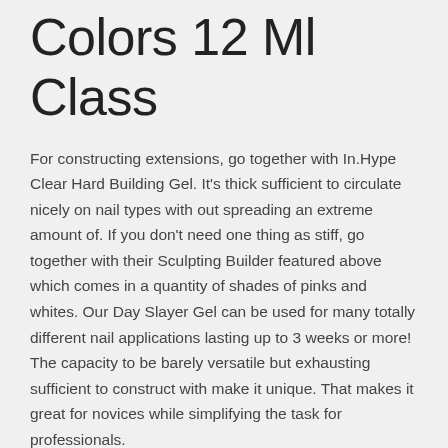Colors 12 Ml Class
For constructing extensions, go together with In.Hype Clear Hard Building Gel. It's thick sufficient to circulate nicely on nail types with out spreading an extreme amount of. If you don't need one thing as stiff, go together with their Sculpting Builder featured above which comes in a quantity of shades of pinks and whites. Our Day Slayer Gel can be used for many totally different nail applications lasting up to 3 weeks or more! The capacity to be barely versatile but exhausting sufficient to construct with make it unique. That makes it great for novices while simplifying the task for professionals.
Correction and/or extension wanted for the natural nail? With Flexi Builder Base gel polish you presumably can complete the damaged nail corner or lengthen the natural nail even 3-5 mm long on a nail type. Some folks